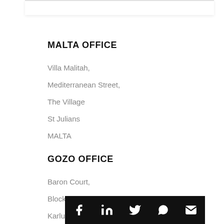MALTA OFFICE
Villa Malitah,
Mediterranean Street,
The Village
St Julians
MALTA
GOZO OFFICE
Baron Court,
Block A,
Karlu Galea Street,
Victoria M28...